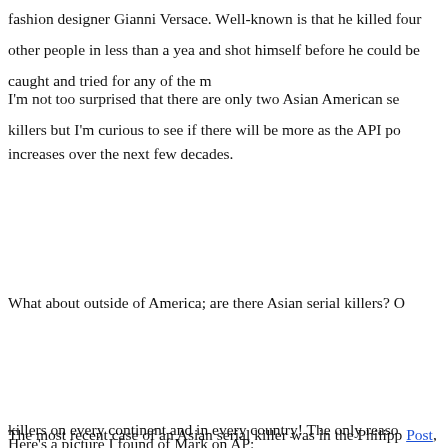fashion designer Gianni Versace. Well-known is that he killed four other people in less than a year and shot himself before he could be caught and tried for any of the murders.
I'm not too surprised that there are only two Asian American serial killers but I'm curious to see if there will be more as the API population increases over the next few decades.
What about outside of America; are there Asian serial killers? Of course! There are serial killers on every continent and in every country! The only reason we know more about American serial killers is because we've spent a lot of time studying, profiling, and trying to catch them.
The most recent case of an Asian serial killer was in the Philippines. According to the Washington Post, Mark Dizon "is accused of killing nine people – six Filipinos, two South Koreans and a Briton – in three different robberies at hotels and homes this month in the Makati business city."
Here's a picture I found of Mark on AP: